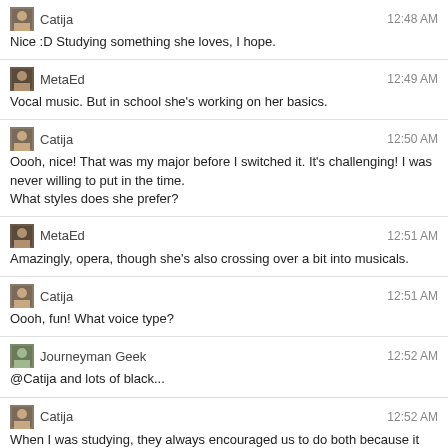Catija 12:48 AM
Nice :D Studying something she loves, I hope.
MetaEd 12:49 AM
Vocal music. But in school she's working on her basics.
Catija 12:50 AM
Oooh, nice! That was my major before I switched it. It's challenging! I was never willing to put in the time.
What styles does she prefer?
MetaEd 12:51 AM
Amazingly, opera, though she's also crossing over a bit into musicals.
Catija 12:51 AM
Oooh, fun! What voice type?
Journeyman Geek 12:52 AM
@Catija and lots of black...
Catija 12:52 AM
When I was studying, they always encouraged us to do both because it was good to get some variety.
MetaEd 12:52 AM
@Catija I think what we're looking at is lyric soprano.